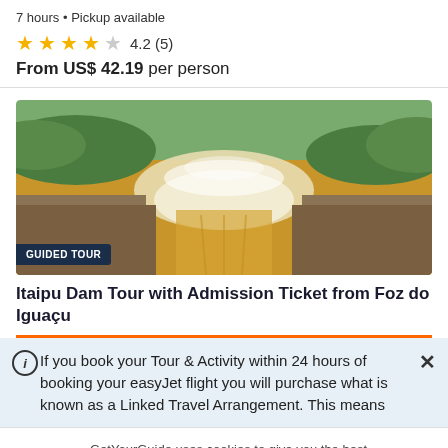7 hours • Pickup available
★★★★☆ 4.2 (5)
From US$ 42.19 per person
[Figure (photo): Aerial view of Itaipu Dam with rushing brown water and green riverbanks]
GUIDED TOUR
Itaipu Dam Tour with Admission Ticket from Foz do Iguaçu
If you book your Tour & Activity within 24 hours of booking your easyJet flight you will purchase what is known as a Linked Travel Arrangement. This means
GetYourGuide uses cookies to give you the best possible service. If you continue browsing, you agree to the use of cookies. More details can be found in our privacy policy.